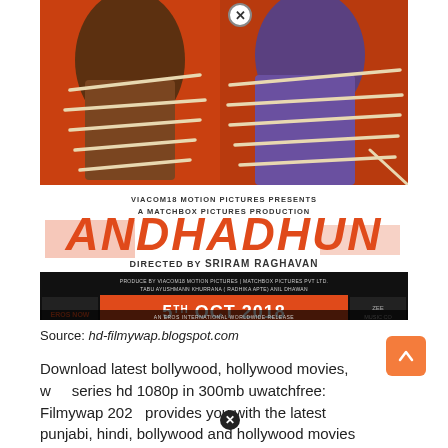[Figure (photo): Movie poster for Andhadhun (2018) directed by Sriram Raghavan. Two figures tied with ropes on an orange background. Text: VIACOM18 MOTION PICTURES PRESENTS A MATCHBOX PICTURES PRODUCTION. ANDHADHUN. DIRECTED BY SRIRAM RAGHAVAN. Cast and crew credits listed. Release date: 5TH OCT 2018. AN EROS INTERNATIONAL WORLDWIDE RELEASE.]
Source: hd-filmywap.blogspot.com
Download latest bollywood, hollywood movies, web series hd 1080p in 300mb uwatchfree: Filmywap 2021 provides you with the latest punjabi, hindi, bollywood and hollywood movies and web series in various